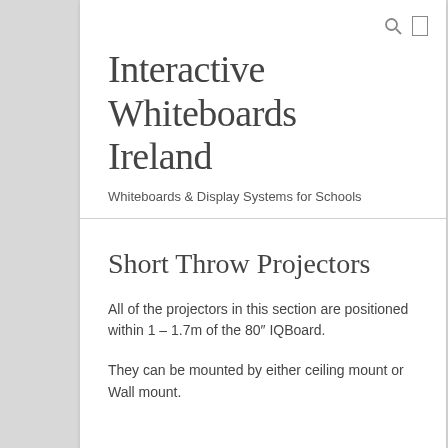Interactive Whiteboards Ireland
Whiteboards & Display Systems for Schools
Short Throw Projectors
All of the projectors in this section are positioned within 1 – 1.7m of the 80″ IQBoard.
They can be mounted by either ceiling mount or Wall mount.